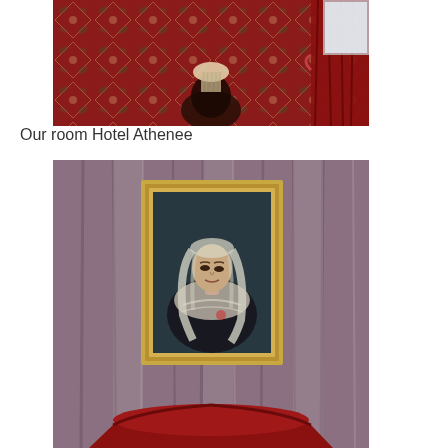[Figure (photo): Interior hotel room photo showing ornate red floral wallpaper, a table lamp with a pleated shade, red velvet curtain tied back on the right, and a dark background.]
Our room Hotel Athenee
[Figure (photo): Photo of a classic oil portrait painting of a woman with long wavy hair and a lace veil/headpiece, wearing a dark dress, hung in a gold frame against mauve/lavender draped curtains. A red velvet chair back is partially visible at the bottom.]